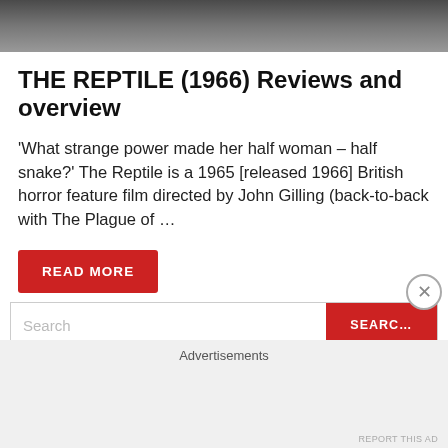[Figure (photo): Partial photo strip at the top showing people, cropped at the bottom of the strip]
THE REPTILE (1966) Reviews and overview
'What strange power made her half woman – half snake?' The Reptile is a 1965 [released 1966] British horror feature film directed by John Gilling (back-to-back with The Plague of …
READ MORE
Search
SEARCH
Advertisements
REPORT THIS AD